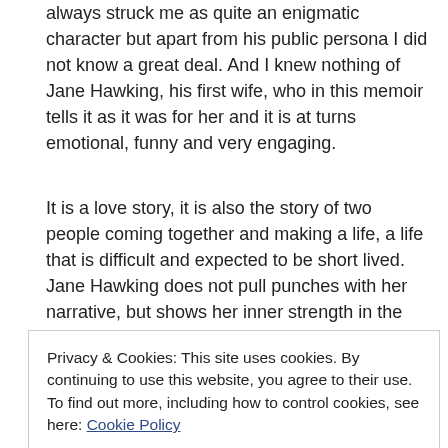always struck me as quite an enigmatic character but apart from his public persona I did not know a great deal. And I knew nothing of Jane Hawking, his first wife, who in this memoir tells it as it was for her and it is at turns emotional, funny and very engaging.
It is a love story, it is also the story of two people coming together and making a life, a life that is difficult and expected to be short lived. Jane Hawking does not pull punches with her narrative, but shows her inner strength in the face of adversity, both the good and the bad things that happen are told with an open honesty and a tendency to be blunt that is very appealing.
Of course this is a very personal story – as such I found myself
Privacy & Cookies: This site uses cookies. By continuing to use this website, you agree to their use.
To find out more, including how to control cookies, see here: Cookie Policy
Jane's belief system and his impatience with other people is